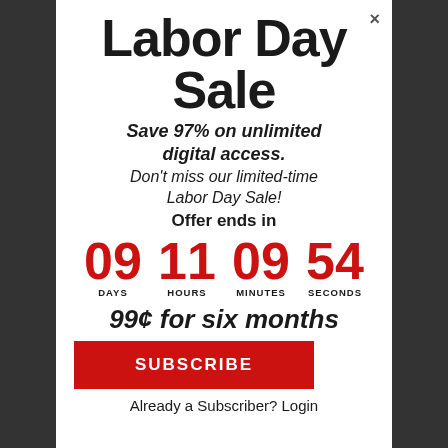Labor Day Sale
Save 97% on unlimited digital access. Don't miss our limited-time Labor Day Sale!
Offer ends in
09 DAYS 11 HOURS 09 MINUTES 54 SECONDS
99¢ for six months
SUBSCRIBE
Already a Subscriber? Login